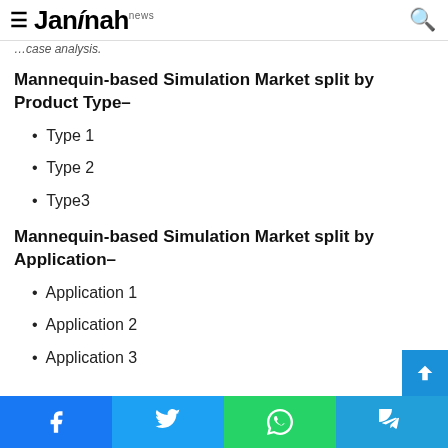Jannah news
…case analysis.
Mannequin-based Simulation Market split by Product Type–
Type 1
Type 2
Type3
Mannequin-based Simulation Market split by Application–
Application 1
Application 2
Application 3
Facebook | Twitter | WhatsApp | Telegram